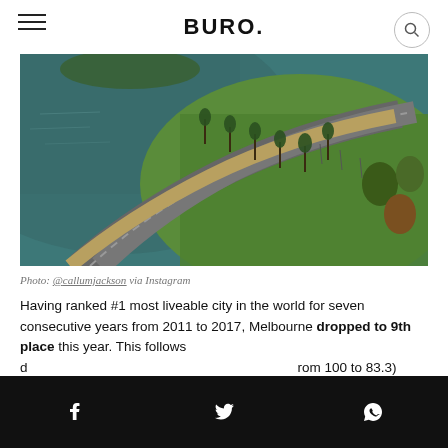BURO.
[Figure (photo): Aerial view of a curved road along a waterfront with palm trees and green grass, in Melbourne, Australia]
Photo: @callumjackson via Instagram
Having ranked #1 most liveable city in the world for seven consecutive years from 2011 to 2017, Melbourne dropped to 9th place this year. This follows d[...] rom 100 to 83.3) [...] es (from 99.6 to [...] hile the